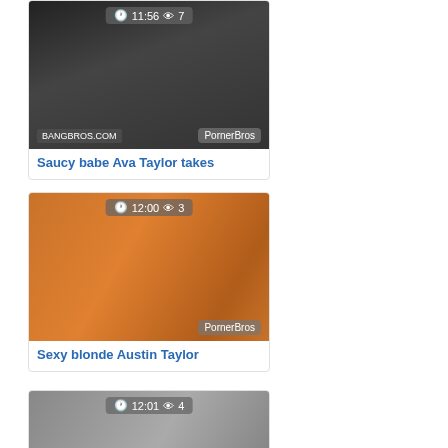[Figure (screenshot): Video thumbnail card 1 with overlay showing duration 11:56 and view count 7, watermark BANGBROS.COM and PornerBros]
Saucy babe Ava Taylor takes
[Figure (screenshot): Video thumbnail card 2 with overlay showing duration 12:00 and view count 3, watermark PornerBros]
Sexy blonde Austin Taylor
[Figure (screenshot): Video thumbnail card 3 with overlay showing duration 12:01 and view count 4]